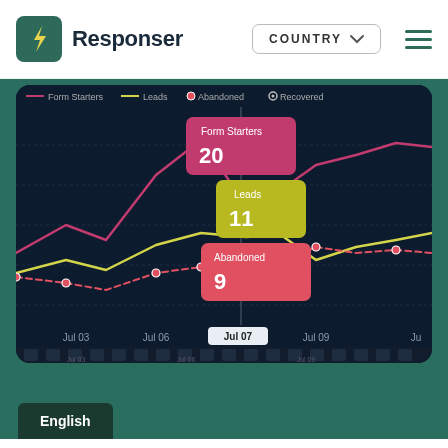[Figure (logo): Responser app logo with lightning bolt icon]
COUNTRY
[Figure (screenshot): Line chart showing Form Starters, Leads, Abandoned, and Recovered metrics over time (Jul 03 - Jul 09+). Tooltip shown for Jul 07: Form Starters 20, Leads 11, Abandoned 9.]
English